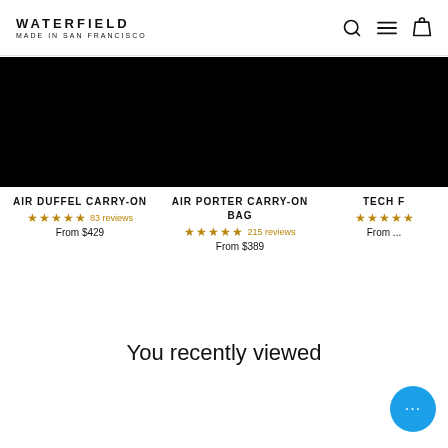WATERFIELD MADE IN SAN FRANCISCO
[Figure (photo): Black product image for Air Duffel Carry-On]
AIR DUFFEL CARRY-ON
★★★★★ 83 reviews
From $429
[Figure (photo): Black product image for Air Porter Carry-On Bag]
AIR PORTER CARRY-ON BAG
★★★★★ 215 reviews
From $389
[Figure (photo): Black product image for Tech F... (partially visible)]
TECH F...
★★★★★
From ...
You recently viewed